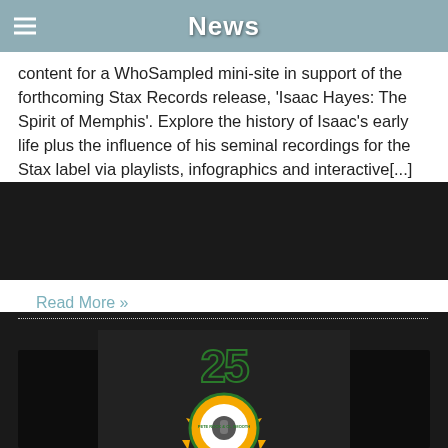News
content for a WhoSampled mini-site in support of the forthcoming Stax Records release, 'Isaac Hayes: The Spirit of Memphis'. Explore the history of Isaac's early life plus the influence of his seminal recordings for the Stax label via playlists, infographics and interactive[...]
Read More »
[Figure (photo): Pete Rock & CL Smooth 25th anniversary image. Black and white photo of two figures with a circular sun logo overlay showing 'Pete Rock & CL Smooth' text and a '25' above it in green outlined numerals.]